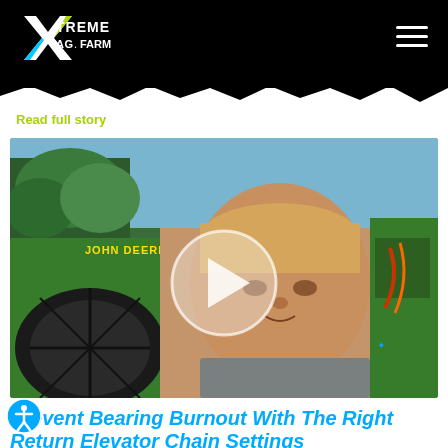XTREME AG.FARM
Read full story
[Figure (photo): Video thumbnail showing a man standing next to a green John Deere tractor/combine with a large tire visible, outdoors. A circular play button overlay is centered on the image.]
Prevent Bearing Burnout With The Right Return Elevator Chain Settings